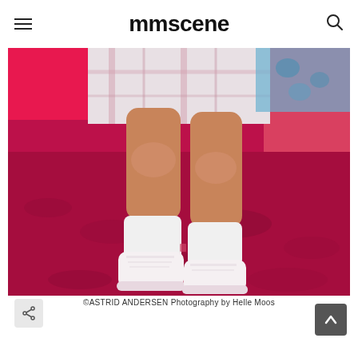mmscene
[Figure (photo): Close-up photograph of a person's legs wearing a plaid skirt, white socks, and white sneakers, standing on a deep pink/magenta carpet against a pink background. A blue patterned item is partially visible.]
©ASTRID ANDERSEN Photography by Helle Moos